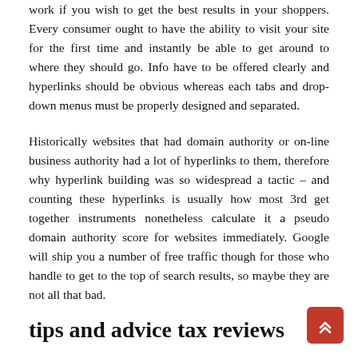work if you wish to get the best results in your shoppers. Every consumer ought to have the ability to visit your site for the first time and instantly be able to get around to where they should go. Info have to be offered clearly and hyperlinks should be obvious whereas each tabs and drop-down menus must be properly designed and separated.
Historically websites that had domain authority or on-line business authority had a lot of hyperlinks to them, therefore why hyperlink building was so widespread a tactic – and counting these hyperlinks is usually how most 3rd get together instruments nonetheless calculate it a pseudo domain authority score for websites immediately. Google will ship you a number of free traffic though for those who handle to get to the top of search results, so maybe they are not all that bad.
tips and advice tax reviews